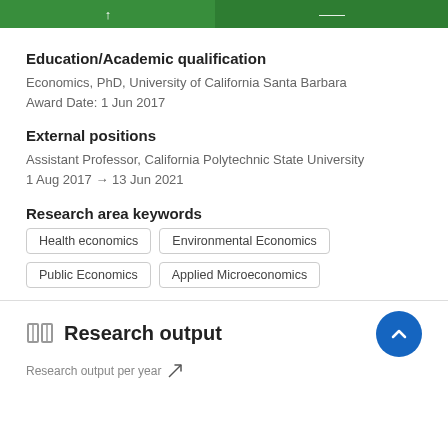[Figure (other): Green banner header with two sections]
Education/Academic qualification
Economics, PhD, University of California Santa Barbara
Award Date: 1 Jun 2017
External positions
Assistant Professor, California Polytechnic State University
1 Aug 2017 → 13 Jun 2021
Research area keywords
Health economics
Environmental Economics
Public Economics
Applied Microeconomics
Research output
Research output per year